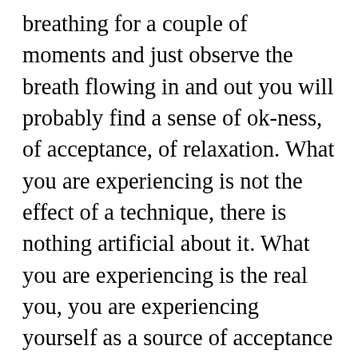breathing for a couple of moments and just observe the breath flowing in and out you will probably find a sense of ok-ness, of acceptance, of relaxation. What you are experiencing is not the effect of a technique, there is nothing artificial about it. What you are experiencing is the real you, you are experiencing yourself as a source of acceptance and relaxation. You are the source! The mind clutter is the fabrication, and obeying the mind clutter is what makes you artificial. How about that for a paradigm shift? Do you now see why every wisdom tradition encourages